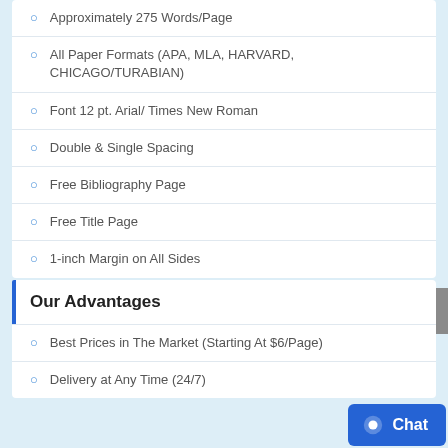Approximately 275 Words/Page
All Paper Formats (APA, MLA, HARVARD, CHICAGO/TURABIAN)
Font 12 pt. Arial/ Times New Roman
Double & Single Spacing
Free Bibliography Page
Free Title Page
1-inch Margin on All Sides
Our Advantages
Best Prices in The Market (Starting At $6/Page)
Delivery at Any Time (24/7)